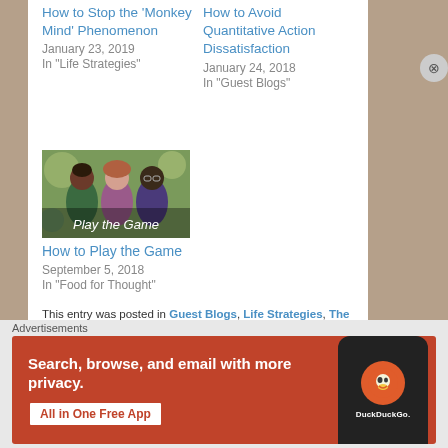How to Stop the ‘Monkey Mind’ Phenomenon
January 23, 2019
In "Life Strategies"
How to Avoid Quantitative Action Dissatisfaction
January 24, 2018
In "Guest Blogs"
[Figure (illustration): Illustrated thumbnail showing three figures with text overlay 'Play the Game']
How to Play the Game
September 5, 2018
In "Food for Thought"
This entry was posted in Guest Blogs, Life Strategies, The Road to Self Empowerment and tagged charisma dishonor
Advertisements
[Figure (screenshot): DuckDuckGo advertisement banner: Search, browse, and email with more privacy. All in One Free App. Shows DuckDuckGo logo on a phone mockup.]